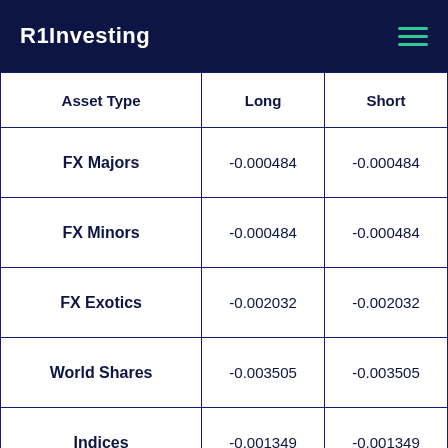R1Investing
| Asset Type | Long | Short |
| --- | --- | --- |
| FX Majors | -0.000484 | -0.000484 |
| FX Minors | -0.000484 | -0.000484 |
| FX Exotics | -0.002032 | -0.002032 |
| World Shares | -0.003505 | -0.003505 |
| Indices | -0.001349 | -0.001349 |